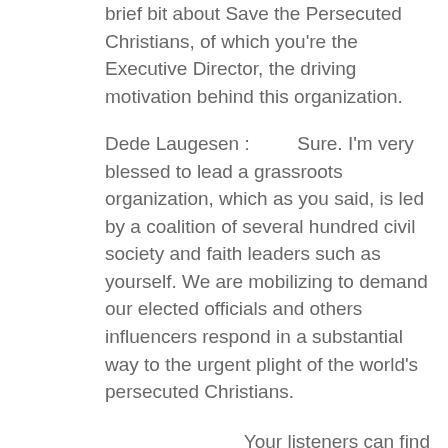brief bit about Save the Persecuted Christians, of which you're the Executive Director, the driving motivation behind this organization.
Dede Laugesen :        Sure. I'm very blessed to lead a grassroots organization, which as you said, is led by a coalition of several hundred civil society and faith leaders such as yourself. We are mobilizing to demand our elected officials and others influencers respond in a substantial way to the urgent plight of the world's persecuted Christians.
Your listeners can find us @savethepersecutedchristians.org where they can join the save us movement to help raise the alarm about the global crisis of anti-Christian violence in a record number of countries. By